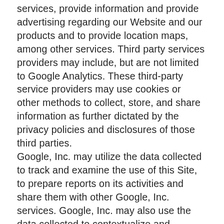services, provide information and provide advertising regarding our Website and our products and to provide location maps, among other services. Third party services providers may include, but are not limited to Google Analytics. These third-party service providers may use cookies or other methods to collect, store, and share information as further dictated by the privacy policies and disclosures of those third parties.
Google, Inc. may utilize the data collected to track and examine the use of this Site, to prepare reports on its activities and share them with other Google, Inc. services. Google, Inc. may also use the data collected to contextualize and personalize the ads of its own advertising network, such as by using cookies to serve ads based on past visits to our...